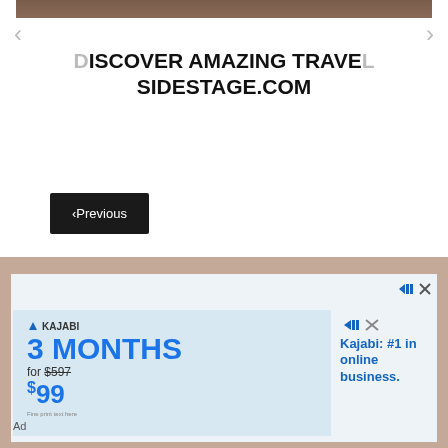[Figure (photo): Partial top image strip showing a person, cropped]
DISCOVER AMAZING TRAVEL
SIDESTAGE.COM
<Previous
[Figure (screenshot): Kajabi advertisement: 3 MONTHS for $597 $99, Kajabi: #1 in online business.]
Ad